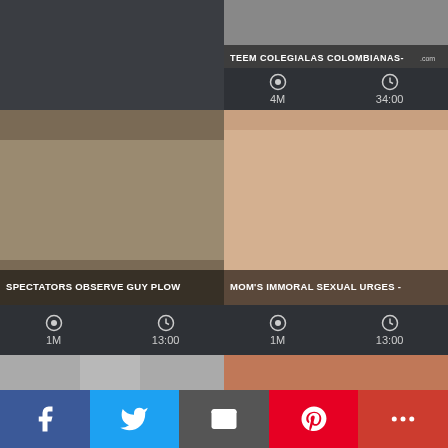[Figure (screenshot): Dark empty left panel top]
[Figure (screenshot): Video thumbnail: TEEM COLEGIALAS COLOMBIANAS - with 4M views and 34:00 duration]
[Figure (screenshot): Video thumbnail: SPECTATORS OBSERVE GUY PLOW with 1M views and 13:00 duration]
[Figure (screenshot): Video thumbnail: MOM'S IMMORAL SEXUAL URGES - with 1M views and 13:00 duration]
[Figure (screenshot): Video thumbnail bottom left: partial shower scene]
[Figure (screenshot): Video thumbnail bottom right: couple near brick wall]
[Figure (screenshot): Social share bar: Facebook, Twitter, Email, Pinterest, More]